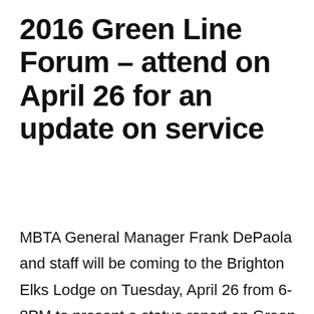2016 Green Line Forum – attend on April 26 for an update on service
MBTA General Manager Frank DePaola and staff will be coming to the Brighton Elks Lodge on Tuesday, April 26 from 6-8PM to present a status report on Green Line service. This is a chance for the public to understand where things are headed and to raise issues, ask questions, and get answers. Directions to